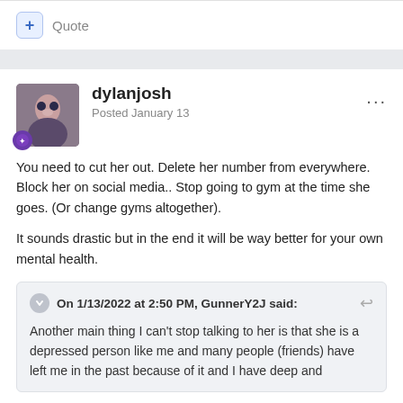+ Quote
dylanjosh
Posted January 13
You need to cut her out. Delete her number from everywhere. Block her on social media.. Stop going to gym at the time she goes. (Or change gyms altogether).

It sounds drastic but in the end it will be way better for your own mental health.
On 1/13/2022 at 2:50 PM, GunnerY2J said:
Another main thing I can't stop talking to her is that she is a depressed person like me and many people (friends) have left me in the past because of it and I have deep and